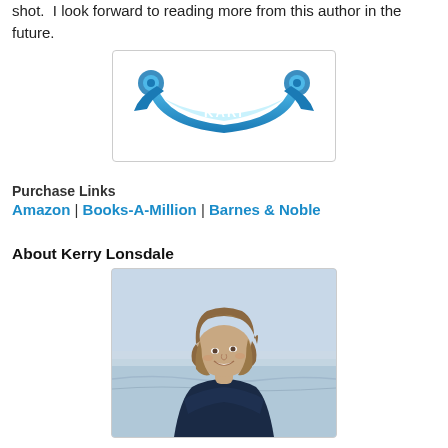shot.  I look forward to reading more from this author in the future.
[Figure (logo): Decorative blue ribbon banner logo with the text 'KARI' in the center, with swirled ends]
Purchase Links
Amazon | Books-A-Million | Barnes & Noble
About Kerry Lonsdale
[Figure (photo): Author Kerry Lonsdale smiling, photographed outdoors near the ocean, wearing a dark navy long-sleeve top, with wavy shoulder-length hair]